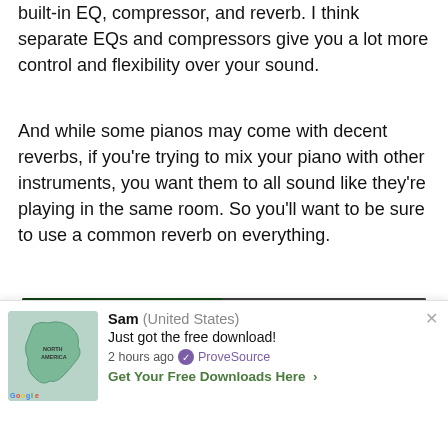built-in EQ, compressor, and reverb. I think separate EQs and compressors give you a lot more control and flexibility over your sound.
And while some pianos may come with decent reverbs, if you're trying to mix your piano with other instruments, you want them to all sound like they're playing in the same room. So you'll want to be sure to use a common reverb on everything.
[Figure (screenshot): YouTube video thumbnail for 'How to Mix Piano - Epic Guide to ...' with channel logo 'Stock Music Musician' on a green background, text '6 TRICKS' in bold italic white, and a piano keys image on the right half.]
[Figure (infographic): ProveSource social proof notification popup showing a map thumbnail of North America, with user 'Sam (United States)' who 'Just got the free download!' 2 hours ago, with a ProveSource badge link and a 'Get Your Free Downloads Here >' call to action. Has a close X button.]